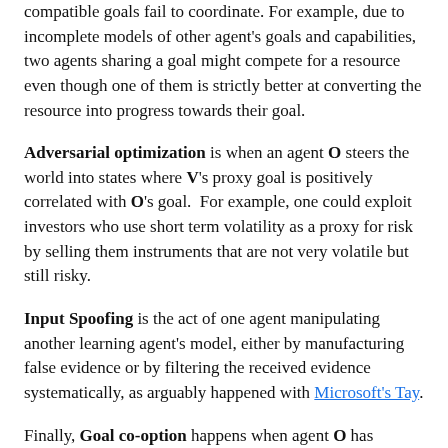compatible goals fail to coordinate. For example, due to incomplete models of other agent's goals and capabilities, two agents sharing a goal might compete for a resource even though one of them is strictly better at converting the resource into progress towards their goal.
Adversarial optimization is when an agent O steers the world into states where V's proxy goal is positively correlated with O's goal. For example, one could exploit investors who use short term volatility as a proxy for risk by selling them instruments that are not very volatile but still risky.
Input Spoofing is the act of one agent manipulating another learning agent's model, either by manufacturing false evidence or by filtering the received evidence systematically, as arguably happened with Microsoft's Tay.
Finally, Goal co-option happens when agent O has (partial)